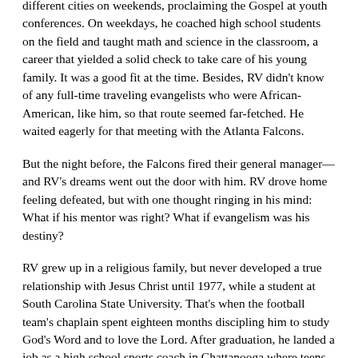different cities on weekends, proclaiming the Gospel at youth conferences. On weekdays, he coached high school students on the field and taught math and science in the classroom, a career that yielded a solid check to take care of his young family. It was a good fit at the time. Besides, RV didn't know of any full-time traveling evangelists who were African-American, like him, so that route seemed far-fetched. He waited eagerly for that meeting with the Atlanta Falcons.
But the night before, the Falcons fired their general manager—and RV's dreams went out the door with him. RV drove home feeling defeated, but with one thought ringing in his mind: What if his mentor was right? What if evangelism was his destiny?
RV grew up in a religious family, but never developed a true relationship with Jesus Christ until 1977, while a student at South Carolina State University. That's when the football team's chaplain spent eighteen months discipling him to study God's Word and to love the Lord. After graduation, he landed a job as a high school sports coach in Chattanooga where teens needed his spiritual mentoring and positive role modeling even more than his athletic tips.
Now, RV began to feel that God, Himself, shut the door on his professional football dream. Had his high school coaching job just been a temporary platform to grow in his gift of evangelism? The more he prayed, the more he sensed God's calling. He quit the high school